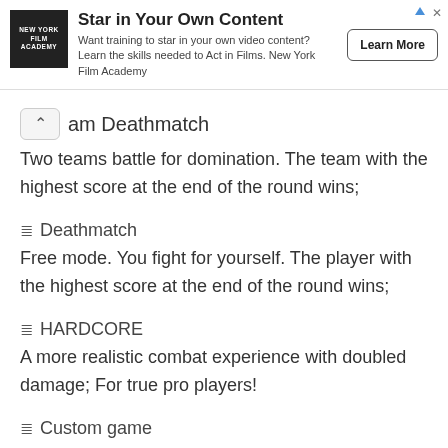[Figure (infographic): Advertisement banner for New York Film Academy. Logo is a black square with white text 'NEW YORK FILM ACADEMY'. Ad title: 'Star in Your Own Content'. Description: 'Want training to star in your own video content? Learn the skills needed to Act in Films. New York Film Academy'. Button: 'Learn More'.]
Team Deathmatch
Two teams battle for domination. The team with the highest score at the end of the round wins;
Deathmatch
Free mode. You fight for yourself. The player with the highest score at the end of the round wins;
HARDCORE
A more realistic combat experience with doubled damage; For true pro players!
Custom game
Create a game with your own rules. Invite your friends to